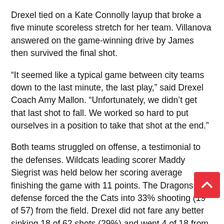Drexel tied on a Kate Connolly layup that broke a five minute scoreless stretch for her team. Villanova answered on the game-winning drive by James then survived the final shot.
“It seemed like a typical game between city teams down to the last minute, the last play,” said Drexel Coach Amy Mallon. “Unfortunately, we didn’t get that last shot to fall. We worked so hard to put ourselves in a position to take that shot at the end.”
Both teams struggled on offense, a testimonial to the defenses. Wildcats leading scorer Maddy Siegrist was held below her scoring average finishing the game with 11 points. The Dragons defense forced the the Cats into 33% shooting (19 of 57) from the field. Drexel did not fare any better sinking 18 of 62 shots (29%) and went 4 of 18 from three-point land.
Brianna Herlihy was the leading Nova scorer getting 13 p... 9 of which came in the first half. Herlihy recorded a game-high in rebounds with 12 and assists handing out 4. Lior Garzon...